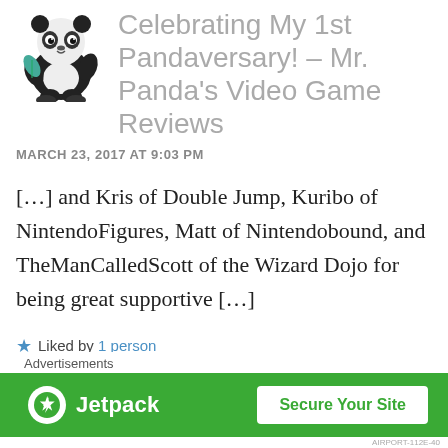[Figure (illustration): Cartoon panda logo for Mr. Panda's Video Game Reviews — a small black-and-white panda holding a green leaf.]
Celebrating My 1st Pandaversary! – Mr. Panda's Video Game Reviews
MARCH 23, 2017 AT 9:03 PM
[…] and Kris of Double Jump, Kuribo of NintendoFigures, Matt of Nintendobound, and TheManCalledScott of the Wizard Dojo for being great supportive […]
★ Liked by 1 person
[Figure (screenshot): Jetpack advertisement banner: green background with Jetpack logo on the left and a 'Secure Your Site' button on the right.]